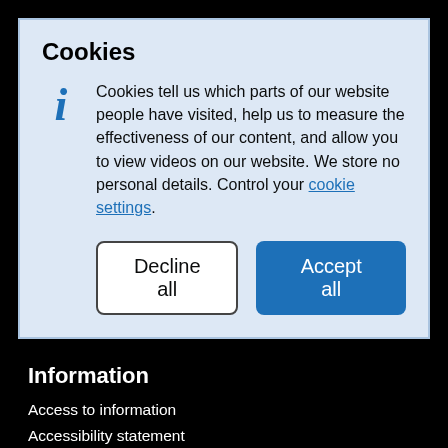Cookies
Cookies tell us which parts of our website people have visited, help us to measure the effectiveness of our content, and allow you to view videos on our website. We store no personal details. Control your cookie settings.
Information
Access to information
Accessibility statement
Terms and conditions
How we use cookies
Privacy
GOV.UK